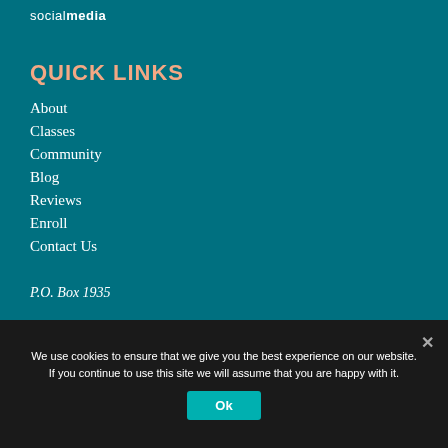socialmedia
QUICK LINKS
About
Classes
Community
Blog
Reviews
Enroll
Contact Us
P.O. Box 1935
We use cookies to ensure that we give you the best experience on our website. If you continue to use this site we will assume that you are happy with it.
Ok